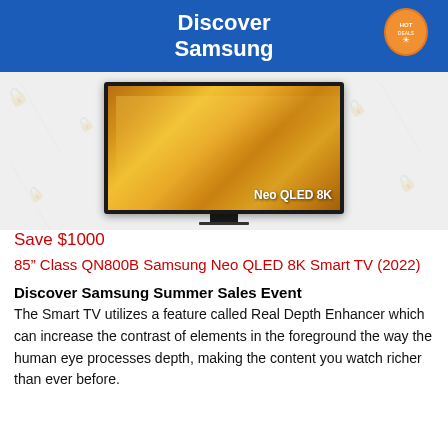[Figure (illustration): Discover Samsung banner with blue background and orange hot deals badge]
[Figure (photo): Samsung Neo QLED 8K TV product image showing golden/yellow screen content with watermark background]
Save $1000
85” Class QN800B Samsung Neo QLED 8K Smart TV (2022)
Discover Samsung Summer Sales Event
The Smart TV utilizes a feature called Real Depth Enhancer which can increase the contrast of elements in the foreground the way the human eye processes depth, making the content you watch richer than ever before.